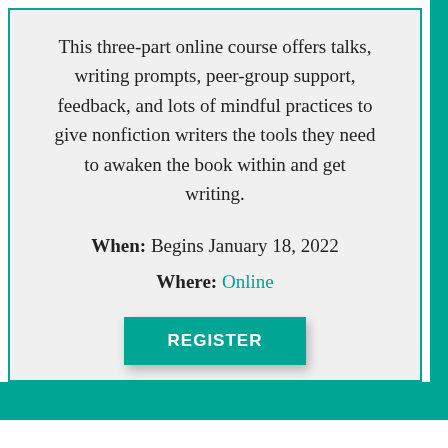This three-part online course offers talks, writing prompts, peer-group support, feedback, and lots of mindful practices to give nonfiction writers the tools they need to awaken the book within and get writing.
When: Begins January 18, 2022
Where: Online
REGISTER